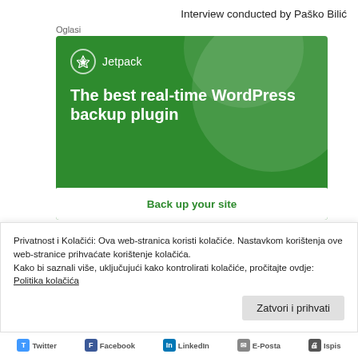Interview conducted by Paško Bilić
Oglasi
[Figure (illustration): Jetpack WordPress plugin advertisement. Green background with white Jetpack logo and text: 'The best real-time WordPress backup plugin' and a 'Back up your site' button.]
Privatnost i Kolačići: Ova web-stranica koristi kolačiće. Nastavkom korištenja ove web-stranice prihvaćate korištenje kolačića.
Kako bi saznali više, uključujući kako kontrolirati kolačiće, pročitajte ovdje:
Politika kolačića
Zatvori i prihvati
Twitter  Facebook  LinkedIn  E-posta  Ispis